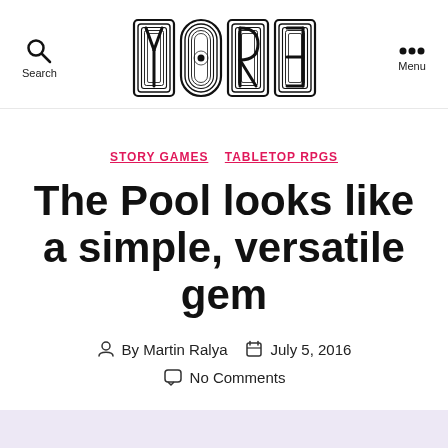Search | YORE | Menu
STORY GAMES  TABLETOP RPGS
The Pool looks like a simple, versatile gem
By Martin Ralya  July 5, 2016
No Comments